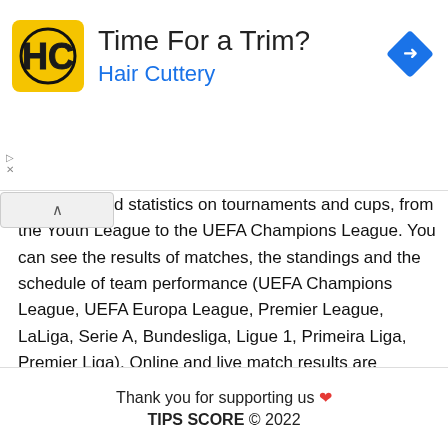[Figure (advertisement): Hair Cuttery advertisement banner with yellow HC logo, title 'Time For a Trim?', subtitle 'Hair Cuttery' in blue, and a blue diamond navigation arrow icon on the right]
d statistics on tournaments and cups, from the Youth League to the UEFA Champions League. You can see the results of matches, the standings and the schedule of team performance (UEFA Champions League, UEFA Europa League, Premier League, LaLiga, Serie A, Bundesliga, Ligue 1, Primeira Liga, Premier Liga). Online and live match results are available in real time. The following data is available for football matches: team statistics, series, referee and starting lineups before the start. For amateurs and betting professionals, on our site you can follow the opening time of the line and the history of changing betting odds.
Thank you for supporting us ❤ TIPS SCORE © 2022